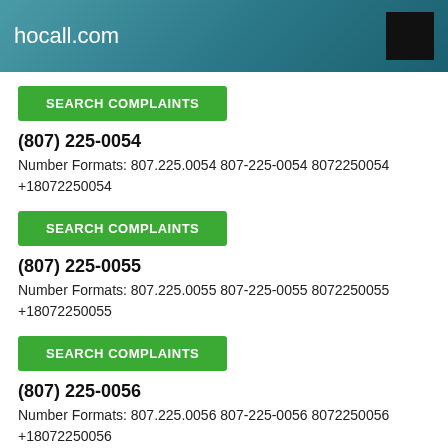hocall.com
SEARCH COMPLAINTS
(807) 225-0054
Number Formats: 807.225.0054 807-225-0054 8072250054 +18072250054
SEARCH COMPLAINTS
(807) 225-0055
Number Formats: 807.225.0055 807-225-0055 8072250055 +18072250055
SEARCH COMPLAINTS
(807) 225-0056
Number Formats: 807.225.0056 807-225-0056 8072250056 +18072250056
SEARCH COMPLAINTS
(807) 225-0057
Number Formats: 807.225.0057 807-225-0057